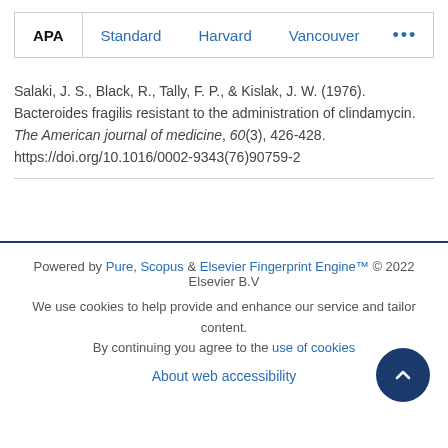APA | Standard | Harvard | Vancouver | ...
Salaki, J. S., Black, R., Tally, F. P., & Kislak, J. W. (1976). Bacteroides fragilis resistant to the administration of clindamycin. The American journal of medicine, 60(3), 426-428. https://doi.org/10.1016/0002-9343(76)90759-2
Powered by Pure, Scopus & Elsevier Fingerprint Engine™ © 2022 Elsevier B.V
We use cookies to help provide and enhance our service and tailor content. By continuing you agree to the use of cookies
About web accessibility